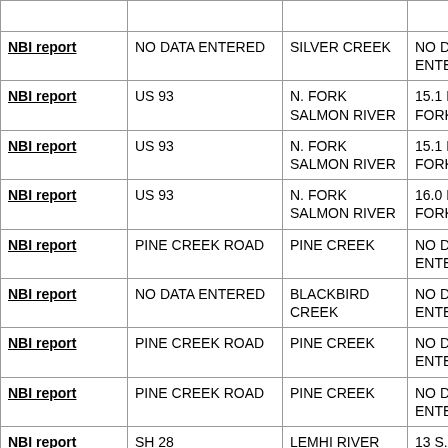| NBI report |  |  |  |
| NBI report | NO DATA ENTERED | SILVER CREEK | NO DATA ENTERED |
| NBI report | US 93 | N. FORK SALMON RIVER | 15.1 N. NOR FORK |
| NBI report | US 93 | N. FORK SALMON RIVER | 15.1 N. NOR FORK |
| NBI report | US 93 | N. FORK SALMON RIVER | 16.0 N. NOR FORK |
| NBI report | PINE CREEK ROAD | PINE CREEK | NO DATA ENTERED |
| NBI report | NO DATA ENTERED | BLACKBIRD CREEK | NO DATA ENTERED |
| NBI report | PINE CREEK ROAD | PINE CREEK | NO DATA ENTERED |
| NBI report | PINE CREEK ROAD | PINE CREEK | NO DATA ENTERED |
| NBI report | SH 28 | LEMHI RIVER | 13 S. SALMO |
| NBI report | SH 28 | LEMHI RIVER | 7.4 S. SALM |